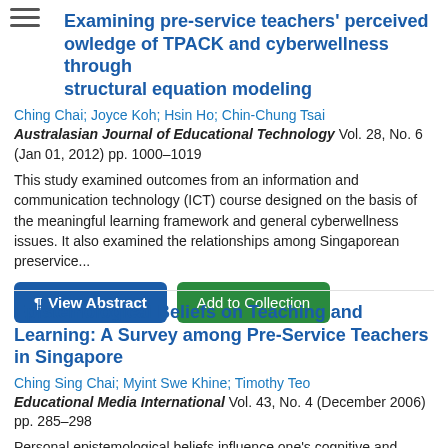Examining pre-service teachers' perceived knowledge of TPACK and cyberwellness through structural equation modeling
Ching Chai; Joyce Koh; Hsin Ho; Chin-Chung Tsai
Australasian Journal of Educational Technology Vol. 28, No. 6 (Jan 01, 2012) pp. 1000–1019
This study examined outcomes from an information and communication technology (ICT) course designed on the basis of the meaningful learning framework and general cyberwellness issues. It also examined the relationships among Singaporean preservice...
Epistemological Beliefs on Teaching and Learning: A Survey among Pre-Service Teachers in Singapore
Ching Sing Chai; Myint Swe Khine; Timothy Teo
Educational Media International Vol. 43, No. 4 (December 2006) pp. 285–298
Personal epistemological beliefs influence one's cognitive and metacognitive operations significantly. These beliefs influence...